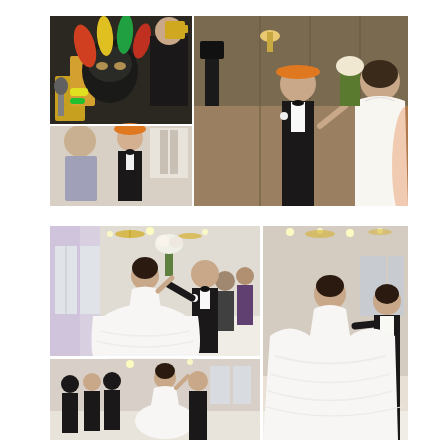[Figure (photo): Wedding reception photo collage - top row: left column has two photos (top: people with party masks and colorful props in dark background; bottom: man in orange hat with woman in ballroom), right: large photo of groom in tuxedo with orange hat dancing with bride in white dress in wood-paneled room]
[Figure (photo): Wedding reception photo collage - bottom row: left column has two photos (top: bride in large white ballgown dancing with groom in tuxedo in ballroom with purple uplighting and chandeliers; bottom: wedding party dancing in ballroom), right: large photo of bride in white ballgown spinning with groom in ballroom]